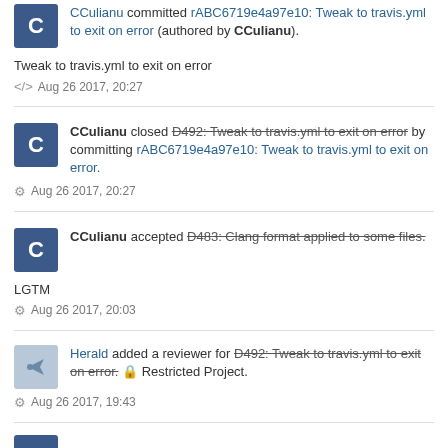CCulianu committed rABC6719e4a97e10: Tweak to travis.yml to exit on error (authored by CCulianu).
Tweak to travis.yml to exit on error
Aug 26 2017, 20:27
CCulianu closed D492: Tweak to travis.yml to exit on error by committing rABC6719e4a97e10: Tweak to travis.yml to exit on error.
Aug 26 2017, 20:27
CCulianu accepted D483: Clang format applied to some files.
LGTM
Aug 26 2017, 20:03
Herald added a reviewer for D492: Tweak to travis.yml to exit on error. Restricted Project.
Aug 26 2017, 19:43